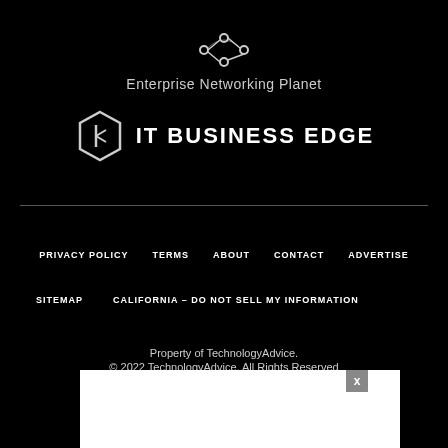[Figure (logo): Enterprise Networking Planet logo with network icon and text]
[Figure (logo): IT Business Edge logo with hexagon icon and bold uppercase text]
PRIVACY POLICY   TERMS   ABOUT   CONTACT   ADVERTISE   SITEMAP   CALIFORNIA – DO NOT SELL MY INFORMATION
Property of TechnologyAdvice.
© 2022 TechnologyAdvice. All Rights Reserved
Advertise... companies... compensation... his site